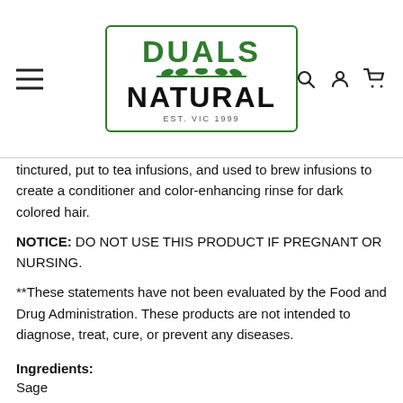Duals Natural — EST. VIC 1999 (logo header with navigation icons)
tinctured, put to tea infusions, and used to brew infusions to create a conditioner and color-enhancing rinse for dark colored hair.
NOTICE: DO NOT USE THIS PRODUCT IF PREGNANT OR NURSING.
**These statements have not been evaluated by the Food and Drug Administration. These products are not intended to diagnose, treat, cure, or prevent any diseases.
Ingredients:
Sage
Origin: